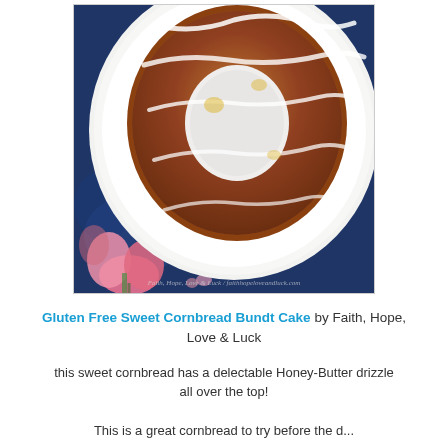[Figure (photo): Overhead photo of a glazed gluten-free sweet cornbread bundt cake on a white plate with white raised-dot rim, drizzled with honey-butter glaze, set on a navy blue floral tablecloth with pink tulips visible in the lower left corner. Watermark text at bottom reads Faith, Hope, Love & Luck / faithhopeloveandluck.com]
Gluten Free Sweet Cornbread Bundt Cake by Faith, Hope, Love & Luck this sweet cornbread has a delectable Honey-Butter drizzle all over the top!
This is a great cornbread to try before the...